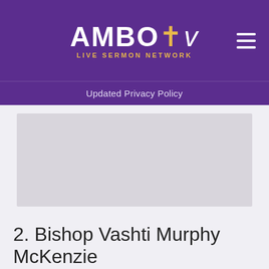AMBO tv LIVE SERMON NETWORK
Updated Privacy Policy
[Figure (other): Gray placeholder image area]
2. Bishop Vashti Murphy McKenzie
Bishop Vashti Murphy McKenzie has amassed several firsts in her life. In 2000 she became the first woman elected a bishop in the African